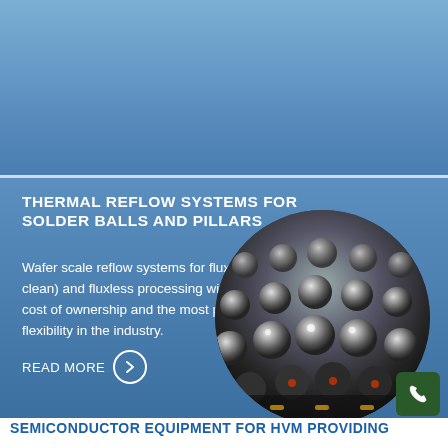[Figure (photo): Top banner area with blue gradient background]
THERMAL REFLOW SYSTEMS FOR SOLDER BALLS AND PILLARS
Wafer scale reflow systems for flux (apply & clean) and fluxless processing with the lowest cost of ownership and the most process flexibility in the industry.
READ MORE
[Figure (photo): Circular cropped close-up photograph of solder balls on a semiconductor wafer, showing rows of metallic spheres with reflective surfaces against a dark background]
SEMICONDUCTOR EQUIPMENT FOR HVM PROVIDING